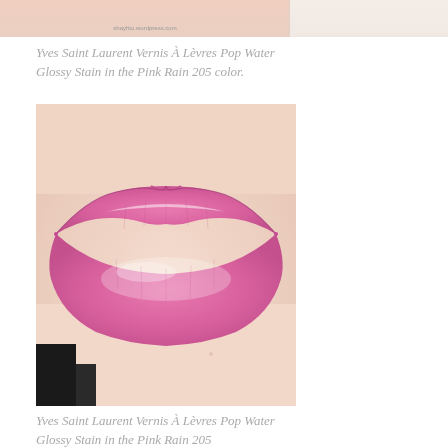[Figure (photo): Close-up photo of a person's lower face showing lips with pink glossy stain applied, partial view at top of page]
Yves Saint Laurent Vernis À Lèvres Pop Water Glossy Stain in the Pink Rain 205 color.
[Figure (photo): Close-up macro photo of lips wearing YSL Vernis À Lèvres Pop Water Glossy Stain in Pink Rain 205, showing glossy bright pink lipstick on full lips against fair skin]
Yves Saint Laurent Vernis À Lèvres Pop Water Glossy Stain in the Pink Rain 205